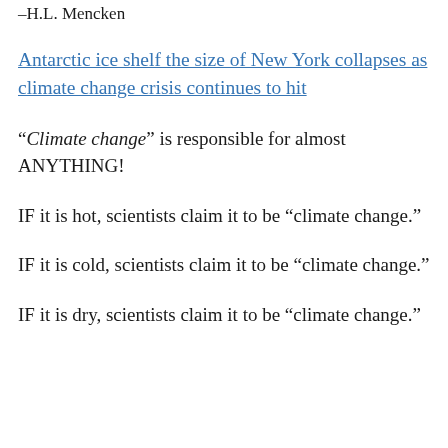–H.L. Mencken
Antarctic ice shelf the size of New York collapses as climate change crisis continues to hit
"Climate change" is responsible for almost ANYTHING!
IF it is hot, scientists claim it to be "climate change."
IF it is cold, scientists claim it to be "climate change."
IF it is dry, scientists claim it to be "climate change."